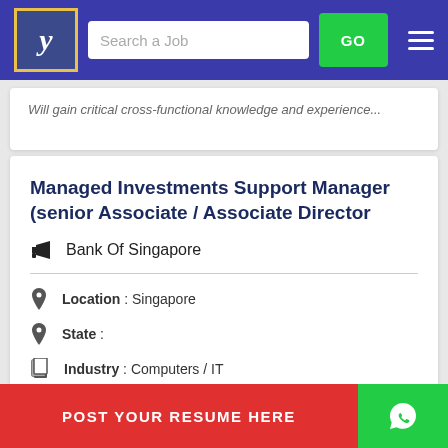Search a Job | GO
Will gain critical cross-functional knowledge and experience...
Managed Investments Support Manager (senior Associate / Associate Director
Bank Of Singapore
Location : Singapore
State :
Industry : Computers / IT
At Bank of Singapore, we are constantly on the lookout for e[xcellent talent who mo]... o[ther text]... anti...
POST YOUR RESUME HERE